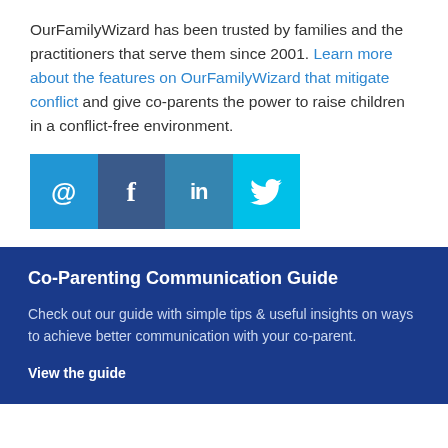OurFamilyWizard has been trusted by families and the practitioners that serve them since 2001. Learn more about the features on OurFamilyWizard that mitigate conflict and give co-parents the power to raise children in a conflict-free environment.
[Figure (infographic): Social media share bar with four colored buttons: email (@), Facebook (f), LinkedIn (in), Twitter (bird icon)]
Co-Parenting Communication Guide
Check out our guide with simple tips & useful insights on ways to achieve better communication with your co-parent.
View the guide